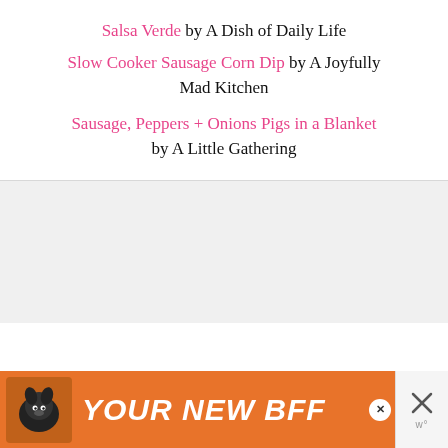Salsa Verde by A Dish of Daily Life
Slow Cooker Sausage Corn Dip by A Joyfully Mad Kitchen
Sausage, Peppers + Onions Pigs in a Blanket by A Little Gathering
[Figure (other): Light grey rectangular content placeholder area]
[Figure (other): Orange advertisement banner at the bottom showing a dog and text YOUR NEW BFF with a close button and X icons]